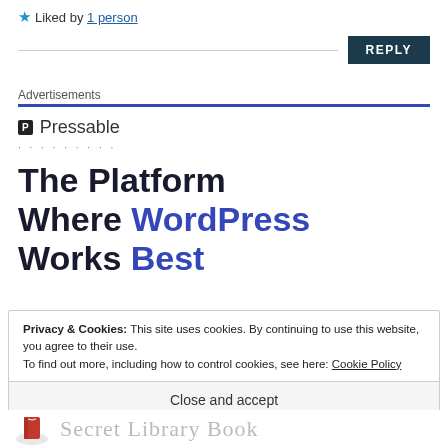★ Liked by 1 person
REPLY
Advertisements
[Figure (logo): Pressable logo with P icon and dotted separator line]
The Platform Where WordPress Works Best
Privacy & Cookies: This site uses cookies. By continuing to use this website, you agree to their use.
To find out more, including how to control cookies, see here: Cookie Policy
Close and accept
Secret Library Book